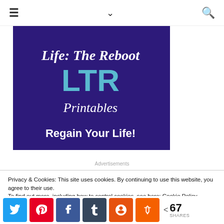≡  ∨  🔍
[Figure (illustration): Purple background promotional image for 'Life: The Reboot' LTR Printables with text 'Regain Your Life!']
Advertisements
Privacy & Cookies: This site uses cookies. By continuing to use this website, you agree to their use.
To find out more, including how to control cookies, see here: Cookie Policy
< 67 SHARES — social share buttons: Twitter, Pinterest, Facebook, Tumblr, Yummly, Mix